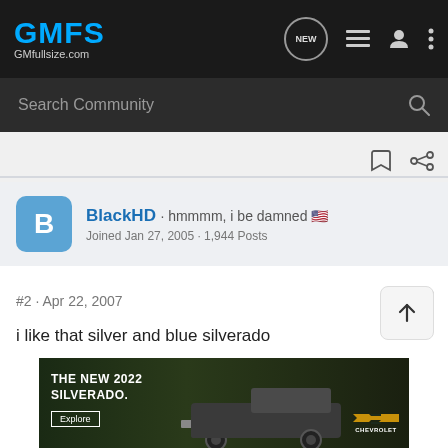GMFS GMfullsize.com
Search Community
BlackHD · hmmmm, i be damned 🇺🇸
Joined Jan 27, 2005 · 1,944 Posts
#2 · Apr 22, 2007
i like that silver and blue silverado
[Figure (screenshot): Chevrolet advertisement banner: THE NEW 2022 SILVERADO. with Explore button and Chevrolet logo, truck image on dark background]